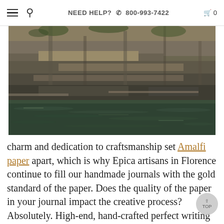NEED HELP? 800-993-7422
[Figure (photo): Photograph of rocky coastal cliffs and dark green sea water, viewed from water level.]
charm and dedication to craftsmanship set Amalfi paper apart, which is why Epica artisans in Florence continue to fill our handmade journals with the gold standard of the paper. Does the quality of the paper in your journal impact the creative process? Absolutely. High-end, hand-crafted perfect writing paper is both luxurious and sensory. There is a distinct tactile difference that will inspire creativity. When you put pen to paper, you are preserving and